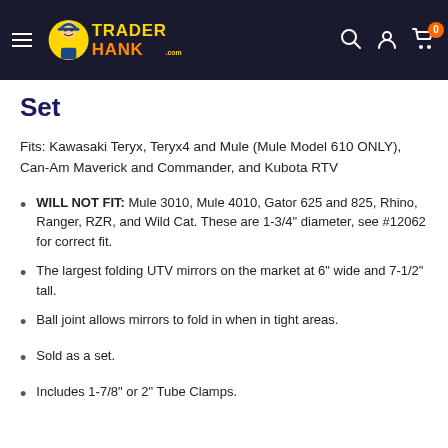Trader Hank — navigation header with search, account, and cart icons
Set
Fits: Kawasaki Teryx, Teryx4 and Mule (Mule Model 610 ONLY), Can-Am Maverick and Commander, and Kubota RTV
WILL NOT FIT: Mule 3010, Mule 4010, Gator 625 and 825, Rhino, Ranger, RZR, and Wild Cat. These are 1-3/4" diameter, see #12062 for correct fit.
The largest folding UTV mirrors on the market at 6" wide and 7-1/2" tall.
Ball joint allows mirrors to fold in when in tight areas.
Sold as a set.
Includes 1-7/8" or 2" Tube Clamps.